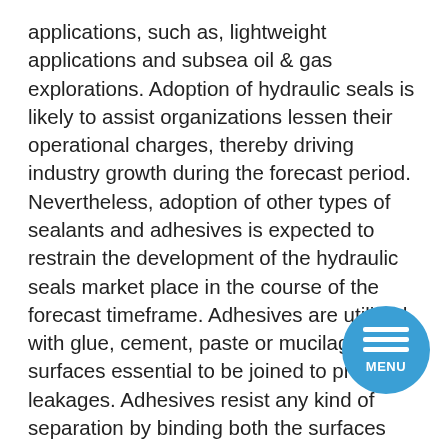applications, such as, lightweight applications and subsea oil & gas explorations. Adoption of hydraulic seals is likely to assist organizations lessen their operational charges, thereby driving industry growth during the forecast period. Nevertheless, adoption of other types of sealants and adhesives is expected to restrain the development of the hydraulic seals market place in the course of the forecast timeframe. Adhesives are utilized with glue, cement, paste or mucilage on surfaces essential to be joined to prevent leakages. Adhesives resist any kind of separation by binding both the surfaces together. They are made of epoxy, gelatin, polyethylene, or resin. A sealant is thin plastic-coated paint utilised on the gear surfaces to block the flow of fluids from the surfaces. Adoption of sealant poses challenge to the building business particularly for blocking sound, dust, or heat transmission. The hydraulic seals marketplace consists of many effectively-established players. With